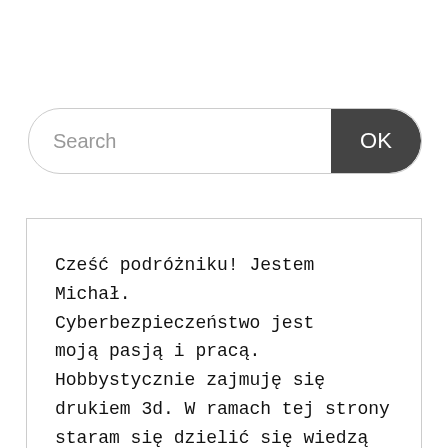[Figure (screenshot): A search bar with placeholder text 'Search' on the left and a dark rounded button labeled 'OK' on the right.]
Cześć podróżniku! Jestem Michał. Cyberbezpieczeństwo jest moją pasją i pracą. Hobbystycznie zajmuję się drukiem 3d. W ramach tej strony staram się dzielić się wiedzą właśnie z tych obszarów. Mam nadzieję, że znajdziesz tutaj przydatne dla siebie informacje ;)